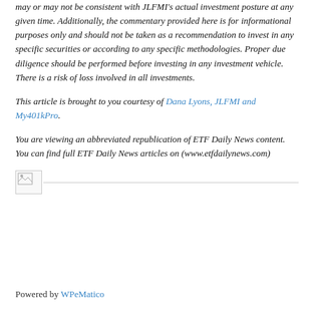may or may not be consistent with JLFMI's actual investment posture at any given time. Additionally, the commentary provided here is for informational purposes only and should not be taken as a recommendation to invest in any specific securities or according to any specific methodologies. Proper due diligence should be performed before investing in any investment vehicle. There is a risk of loss involved in all investments.
This article is brought to you courtesy of Dana Lyons, JLFMI and My401kPro.
You are viewing an abbreviated republication of ETF Daily News content. You can find full ETF Daily News articles on (www.etfdailynews.com)
[Figure (other): Small broken image icon placeholder with a horizontal rule line extending to the right]
Powered by WPeMatico